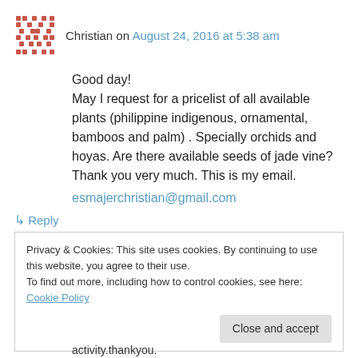Christian on August 24, 2016 at 5:38 am
Good day!
May I request for a pricelist of all available plants (philippine indigenous, ornamental, bamboos and palm) . Specially orchids and hoyas. Are there available seeds of jade vine? Thank you very much. This is my email.
esmajerchristian@gmail.com
↳ Reply
Privacy & Cookies: This site uses cookies. By continuing to use this website, you agree to their use.
To find out more, including how to control cookies, see here: Cookie Policy
Close and accept
activity.thankyou.